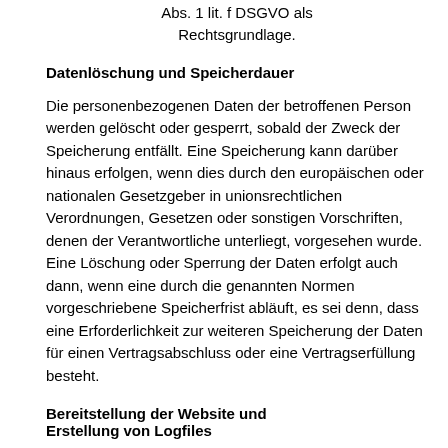Abs. 1 lit. f DSGVO als Rechtsgrundlage.
Datenlöschung und Speicherdauer
Die personenbezogenen Daten der betroffenen Person werden gelöscht oder gesperrt, sobald der Zweck der Speicherung entfällt. Eine Speicherung kann darüber hinaus erfolgen, wenn dies durch den europäischen oder nationalen Gesetzgeber in unionsrechtlichen Verordnungen, Gesetzen oder sonstigen Vorschriften, denen der Verantwortliche unterliegt, vorgesehen wurde. Eine Löschung oder Sperrung der Daten erfolgt auch dann, wenn eine durch die genannten Normen vorgeschriebene Speicherfrist abläuft, es sei denn, dass eine Erforderlichkeit zur weiteren Speicherung der Daten für einen Vertragsabschluss oder eine Vertragserfüllung besteht.
Bereitstellung der Website und Erstellung von Logfiles